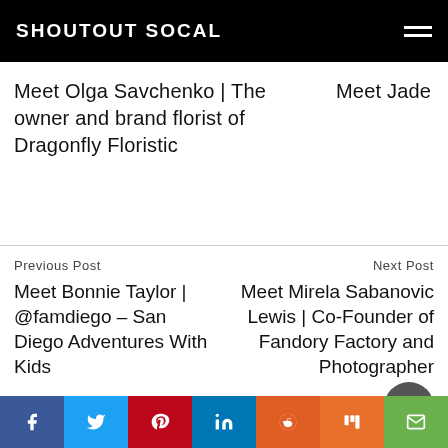SHOUTOUT SOCAL
Meet Olga Savchenko | The owner and brand florist of Dragonfly Floristic
Meet Jade
Previous Post
Meet Bonnie Taylor | @famdiego – San Diego Adventures With Kids
Next Post
Meet Mirela Sabanovic Lewis | Co-Founder of Fandory Factory and Photographer
Leave a comment
Your email address will not be published. Required fields are marked *